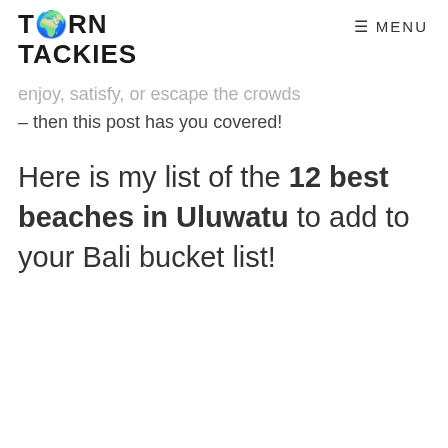TORN TACKIES  MENU
enjoy, satisfy, or escape the crowds – then this post has you covered!
Here is my list of the 12 best beaches in Uluwatu to add to your Bali bucket list!